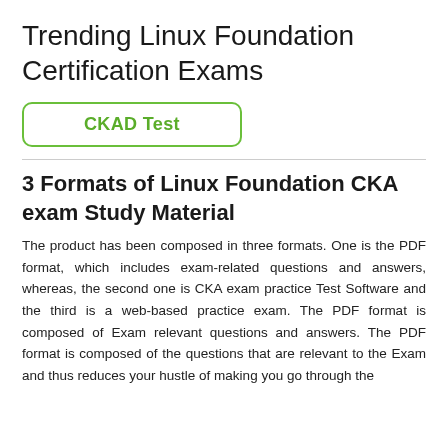Trending Linux Foundation Certification Exams
[Figure (other): Button with green border and text 'CKAD Test']
3 Formats of Linux Foundation CKA exam Study Material
The product has been composed in three formats. One is the PDF format, which includes exam-related questions and answers, whereas, the second one is CKA exam practice Test Software and the third is a web-based practice exam. The PDF format is composed of Exam relevant questions and answers. The PDF format is composed of the questions that are relevant to the Exam and thus reduces your hustle of making you go through the